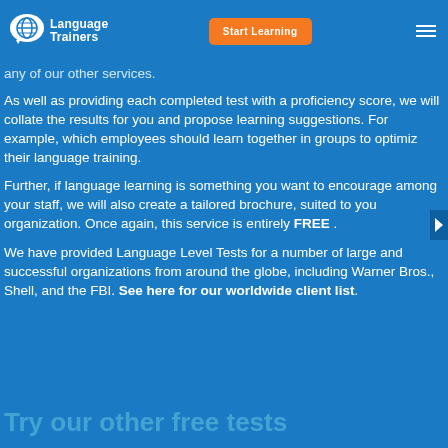Language Trainers | Start Learning
any of our other services.
As well as providing each completed test with a proficiency score, we will collate the results for you and propose learning suggestions. For example, which employees should learn together in groups to optimiz their language training.
Further, if language learning is something you want to encourage among your staff, we will also create a tailored brochure, suited to your organization. Once again, this service is entirely FREE .
We have provided Language Level Tests for a number of large and successful organizations from around the globe, including Warner Bros., Shell, and the FBI. See here for our worldwide client list.
Try our other free tests